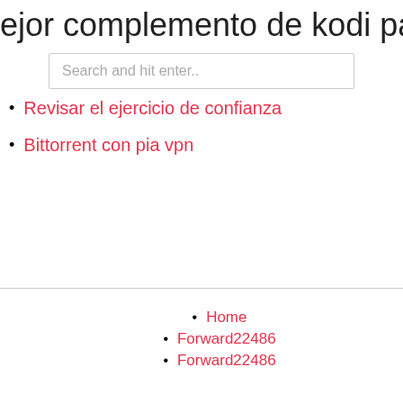ejor complemento de kodi para ufc 2
Search and hit enter..
Revisar el ejercicio de confianza
Bittorrent con pia vpn
Home
Forward22486
Forward22486